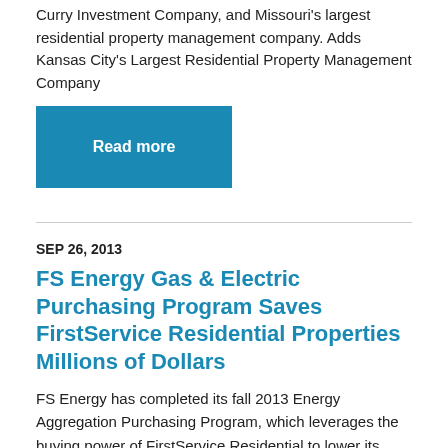Curry Investment Company, and Missouri's largest residential property management company. Adds Kansas City's Largest Residential Property Management Company
Read more
SEP 26, 2013
FS Energy Gas & Electric Purchasing Program Saves FirstService Residential Properties Millions of Dollars
FS Energy has completed its fall 2013 Energy Aggregation Purchasing Program, which leverages the buying power of FirstService Residential to lower its clients' costs for natural gas and electricity. This is the fifth aggregation program conducted by FS Energy, the energy management and advisory subsidiary of